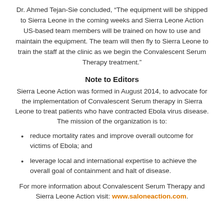Dr. Ahmed Tejan-Sie concluded, “The equipment will be shipped to Sierra Leone in the coming weeks and Sierra Leone Action US-based team members will be trained on how to use and maintain the equipment. The team will then fly to Sierra Leone to train the staff at the clinic as we begin the Convalescent Serum Therapy treatment.”
Note to Editors
Sierra Leone Action was formed in August 2014, to advocate for the implementation of Convalescent Serum therapy in Sierra Leone to treat patients who have contracted Ebola virus disease. The mission of the organization is to:
reduce mortality rates and improve overall outcome for victims of Ebola; and
leverage local and international expertise to achieve the overall goal of containment and halt of disease.
For more information about Convalescent Serum Therapy and Sierra Leone Action visit: www.saloneaction.com.